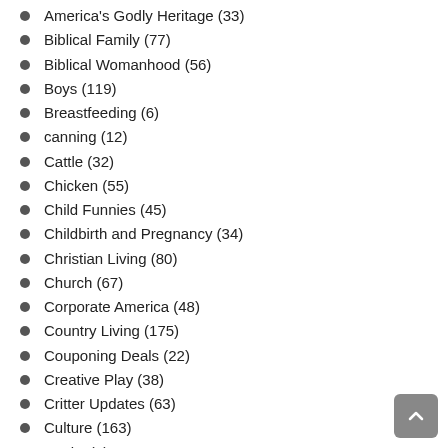America's Godly Heritage (33)
Biblical Family (77)
Biblical Womanhood (56)
Boys (119)
Breastfeeding (6)
canning (12)
Cattle (32)
Chicken (55)
Child Funnies (45)
Childbirth and Pregnancy (34)
Christian Living (80)
Church (67)
Corporate America (48)
Country Living (175)
Couponing Deals (22)
Creative Play (38)
Critter Updates (63)
Culture (163)
Ducks (5)
Economics (79)
Editorials (4)
Entrepreneurship (19)
Extra (8)